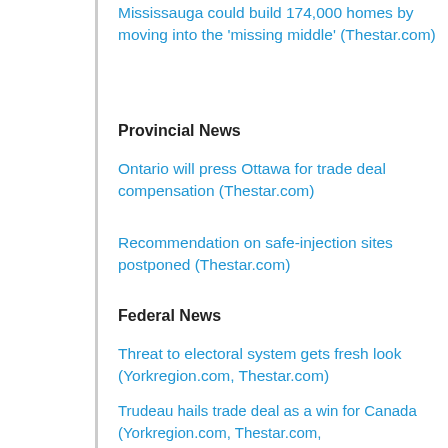Mississauga could build 174,000 homes by moving into the 'missing middle' (Thestar.com)
Provincial News
Ontario will press Ottawa for trade deal compensation (Thestar.com)
Recommendation on safe-injection sites postponed (Thestar.com)
Federal News
Threat to electoral system gets fresh look (Yorkregion.com, Thestar.com)
Trudeau hails trade deal as a win for Canada (Yorkregion.com, Thestar.com, Theglobeandmail.com, Nationalpost.com)
Oct. 1